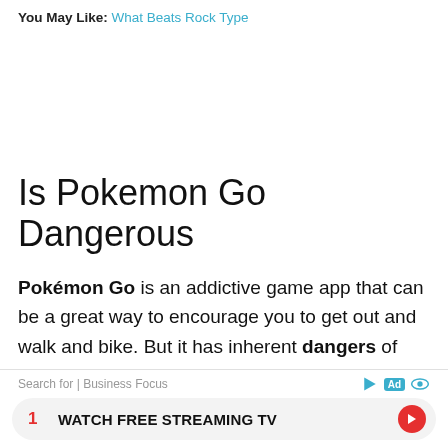You May Like: What Beats Rock Type
Is Pokemon Go Dangerous
Pokémon Go is an addictive game app that can be a great way to encourage you to get out and walk and bike. But it has inherent dangers of distracted walking and cycling. News reports abound of players getting injured, stumbling into trouble, or having the police called to investigate their suspicious behavior.
Search for | Business Focus
1 WATCH FREE STREAMING TV